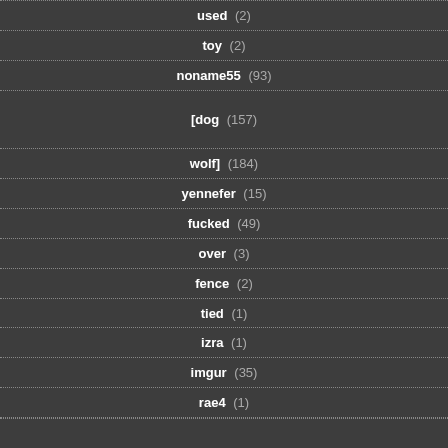used (2)
toy (2)
noname55 (93)
[dog (157)
wolf] (184)
yennefer (15)
fucked (49)
over (3)
fence (2)
tied (1)
izra (1)
imgur (35)
rae4 (1)